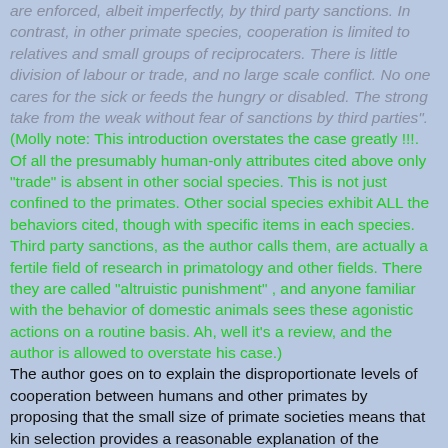are enforced, albeit imperfectly, by third party sanctions. In contrast, in other primate species, cooperation is limited to relatives and small groups of reciprocaters. There is little division of labour or trade, and no large scale conflict. No one cares for the sick or feeds the hungry or disabled. The strong take from the weak without fear of sanctions by third parties".
(Molly note: This introduction overstates the case greatly !!!. Of all the presumably human-only attributes cited above only "trade" is absent in other social species. This is not just confined to the primates. Other social species exhibit ALL the behaviors cited, though with specific items in each species. Third party sanctions, as the author calls them, are actually a fertile field of research in primatology and other fields. There they are called "altruistic punishment" , and anyone familiar with the behavior of domestic animals sees these agonistic actions on a routine basis. Ah, well it's a review, and the author is allowed to overstate his case.)
The author goes on to explain the disproportionate levels of cooperation between humans and other primates by proposing that the small size of primate societies means that kin selection provides a reasonable explanation of the